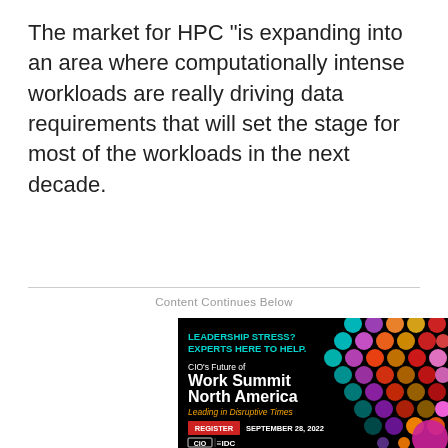The market for HPC "is expanding into an area where computationally intense workloads are really driving data requirements that will set the stage for most of the workloads in the next decade.
Content Continues Below
[Figure (advertisement): CIO's Future of Work Summit North America advertisement on black background with colorful dot pattern. Text: LEADERSHIP STRESS? EXPERTS HERE TO HELP. CIO's Future of Work Summit North America. Leading in Disruptive Times. REGISTER button. SEPTEMBER 28, 2022. CIO and IDC logos at bottom.]